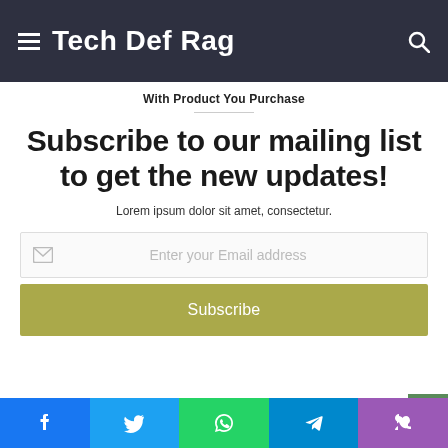Tech Def Rag
With Product You Purchase
Subscribe to our mailing list to get the new updates!
Lorem ipsum dolor sit amet, consectetur.
Enter your Email address
Subscribe
[Figure (screenshot): Bottom image strip partially visible]
Facebook | Twitter | WhatsApp | Telegram | Phone